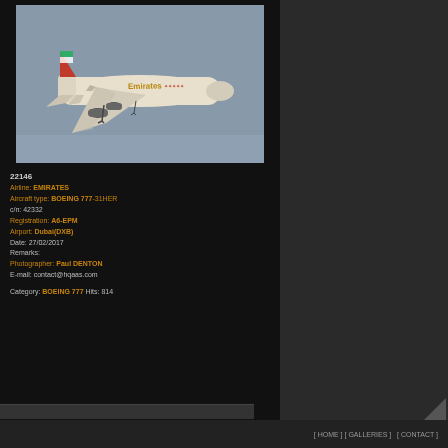[Figure (photo): Emirates Boeing 777-31HER aircraft in flight against gray sky, with special red livery markings on fuselage]
22146
Airline: EMIRATES
Aircraft type: BOEING 777-31HER
c/n: 42332
Registration: A6-EPM
Airport: Dubai(DXB)
Date: 27/02/2017
Remarks:
Photographer: Paul DENTON
E-mail: contact@hqaas.com

Category: BOEING 777 Hits: 814
[ HOME ] [ GALLERIES ]  [ CONTACT ]